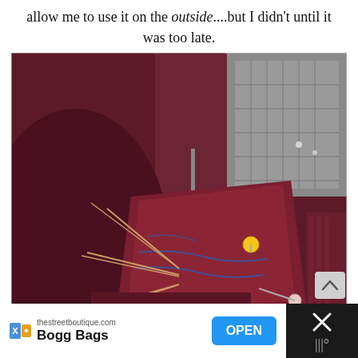allow me to use it on the outside....but I didn't until it was too late.
[Figure (photo): Close-up photo of dark red/maroon fabric being sewn on a sewing machine. Multiple sewing pins with yellow and pink/white heads are visible pinning layers of fabric together. The sewing machine foot is visible pressing down on the fabric. Blue stitching is visible on the fabric.]
[Figure (other): Advertisement banner at bottom: thestreetboutique.com - Bogg Bags - with OPEN button in blue. Dark background on right side with X close button.]